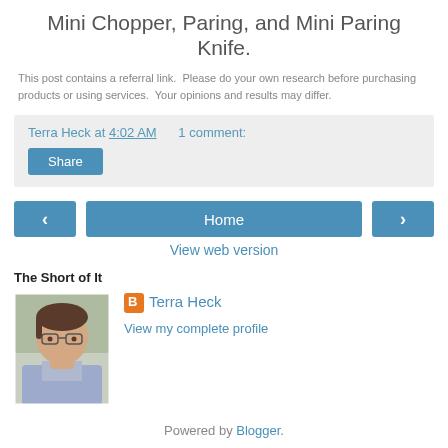Mini Chopper, Paring, and Mini Paring Knife.
This post contains a referral link.  Please do your own research before purchasing products or using services.  Your opinions and results may differ.
Terra Heck at 4:02 AM    1 comment:
Share
‹  Home  ›
View web version
The Short of It
[Figure (photo): Profile photo of Terra Heck - a person with glasses and short brown hair]
Terra Heck
View my complete profile
Powered by Blogger.